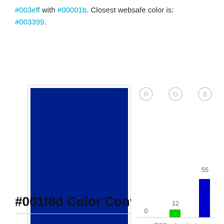#003eff with #00001b. Closest websafe color is: #003399.
[Figure (bar-chart): RGB color chart]
#001f8d color description : Dark blue.
#001f8d Color Conversion